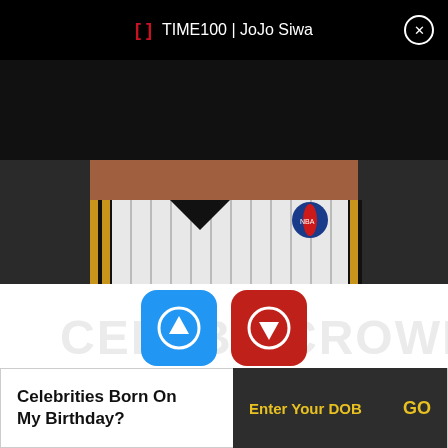TIME100 | JoJo Siwa
[Figure (photo): Partial view of a person wearing an NBA jersey (white with gold and black stripes), cropped at chest level]
1   0
Listed In: Sportspersons
Birthdate: April 6, 1970
Sun Sign: Aries
Height: 6'0" (206 cm)
Celebrities Born On My Birthday? Enter Your DOB GO